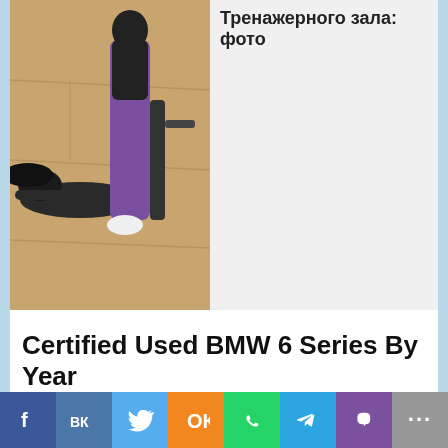[Figure (photo): Photo of two women in a gym/fitness setting on a wooden floor, one in purple leggings doing a stretching exercise]
Тренажерного зала: фото
Certified Used BMW 6 Series By Year
Why Use CarGurus?
We'll help you find great deals among the millions of vehicles available nationwide on CarGurus, and we'll provide you with dealer reviews and vehicle history for each one. After all, over 30
[Figure (other): Scroll-to-top button with blue border and upward triangle arrow]
f  ВК  🐦  ОК  WhatsApp  Telegram  Viber  ...